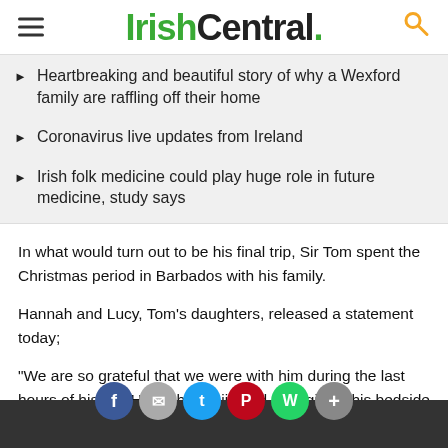IrishCentral.
Heartbreaking and beautiful story of why a Wexford family are raffling off their home
Coronavirus live updates from Ireland
Irish folk medicine could play huge role in future medicine, study says
In what would turn out to be his final trip, Sir Tom spent the Christmas period in Barbados with his family.
Hannah and Lucy, Tom's daughters, released a statement today;
"We are so grateful that we were with him during the last hours of his life; Hannah, Benjie and Georgia by his bedside